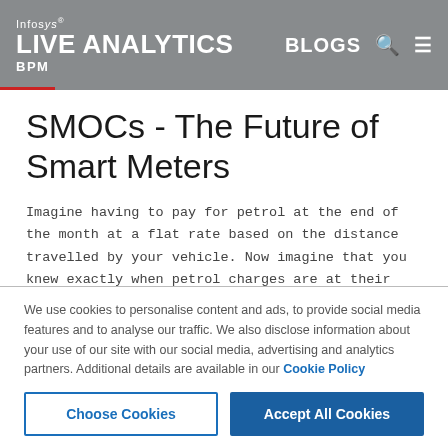Infosys BPM LIVE ANALYTICS | BLOGS
SMOCs - The Future of Smart Meters
Imagine having to pay for petrol at the end of the month at a flat rate based on the distance travelled by your vehicle. Now imagine that you knew exactly when petrol charges are at their peak or when they drop during a day – knowledge that
We use cookies to personalise content and ads, to provide social media features and to analyse our traffic. We also disclose information about your use of our site with our social media, advertising and analytics partners. Additional details are available in our Cookie Policy
Choose Cookies | Accept All Cookies